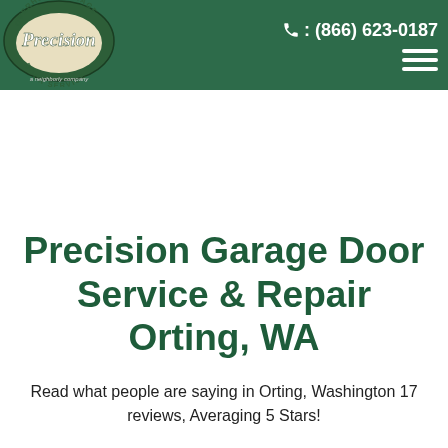[Figure (logo): Precision Overhead Garage Door Service logo — green oval badge with 'Precision' in white script, 'OVERHEAD GARAGE' and 'DOOR SERVICE' arched text, cream/tan oval center. Below: 'a neighborly company' in small text.]
: (866) 623-0187
Precision Garage Door Service & Repair Orting, WA
Read what people are saying in Orting, Washington 17 reviews, Averaging 5 Stars!